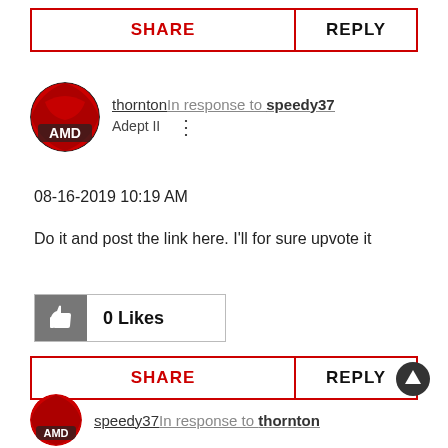SHARE | REPLY (top bar)
thorntonIn response to speedy37
Adept II
08-16-2019 10:19 AM
Do it and post the link here. I'll for sure upvote it
0 Likes
SHARE | REPLY (bottom bar)
speedy37In response to thornton